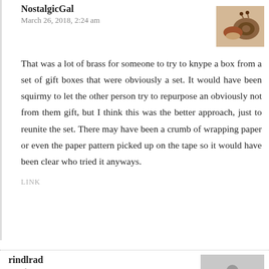NostalgicGal
March 26, 2018, 2:24 am
That was a lot of brass for someone to try to knype a box from a set of gift boxes that were obviously a set. It would have been squirmy to let the other person try to repurpose an obviously not from them gift, but I think this was the better approach, just to reunite the set. There may have been a crumb of wrapping paper or even the paper pattern picked up on the tape so it would have been clear who tried it anyways.
LINK
rindlrad
March 22, 2018, 12:25 pm
Oh, OP, I feel for you. However, I think Admin is correct. You really don’t know that someone deliberately switched cards – it could have been an accident. In addition, I really don’t think there is any way you can “let it be known” without making things awkward. I’m imagining you